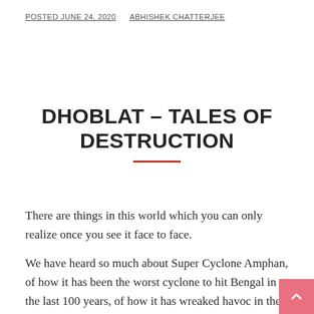POSTED JUNE 24, 2020   ABHISHEK CHATTERJEE
DHOBLAT – TALES OF DESTRUCTION
There are things in this world which you can only realize once you see it face to face.
We have heard so much about Super Cyclone Amphan, of how it has been the worst cyclone to hit Bengal in the last 100 years, of how it has wreaked havoc in the Sunderbans and so on. But despite all of these, without